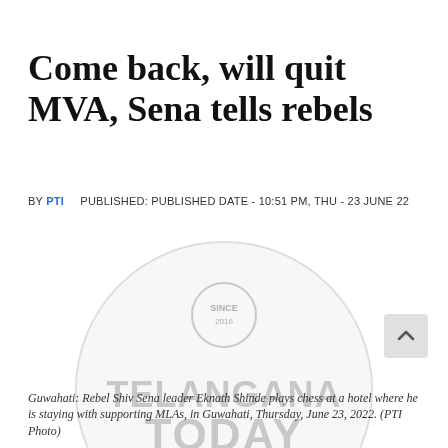Come back, will quit MVA, Sena tells rebels
BY PTI   PUBLISHED: PUBLISHED DATE - 10:51 PM, THU - 23 JUNE 22
[Figure (photo): Watermark image of Telangana Today logo (circular watermark with text TELANGANA TODAY) overlaid on a photo area]
Guwahati: Rebel Shiv Sena leader Eknath Shinde plays chess at a hotel where he is staying with supporting MLAs, in Guwahati, Thursday, June 23, 2022. (PTI Photo)